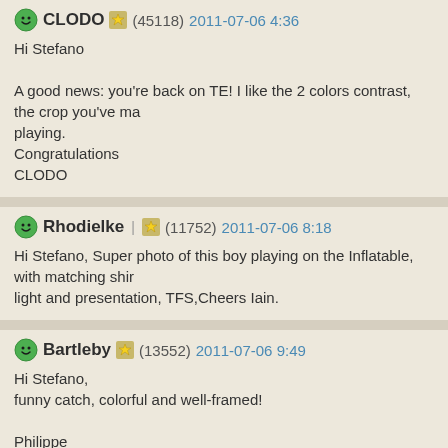CLODO (45118) 2011-07-06 4:36
Hi Stefano
A good news: you're back on TE! I like the 2 colors contrast, the crop you've ma playing.
Congratulations
CLODO
Rhodielke (11752) 2011-07-06 8:18
Hi Stefano, Super photo of this boy playing on the Inflatable, with matching shir light and presentation, TFS,Cheers Iain.
Bartleby (13552) 2011-07-06 9:49
Hi Stefano,
funny catch, colorful and well-framed!
Philippe
BennyV (34780) 2011-07-06 11:20
Ciao Stefa...